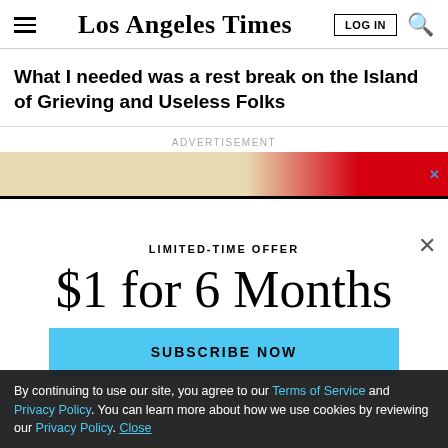Los Angeles Times
What I needed was a rest break on the Island of Grieving and Useless Folks
ADVERTISEMENT
[Figure (other): Advertisement banner with beige and red diagonal stripe design and blue X close button]
LIMITED-TIME OFFER
$1 for 6 Months
SUBSCRIBE NOW
Season 5 of The Times' go-to podcast is here
By continuing to use our site, you agree to our Terms of Service and Privacy Policy. You can learn more about how we use cookies by reviewing our Privacy Policy. Close